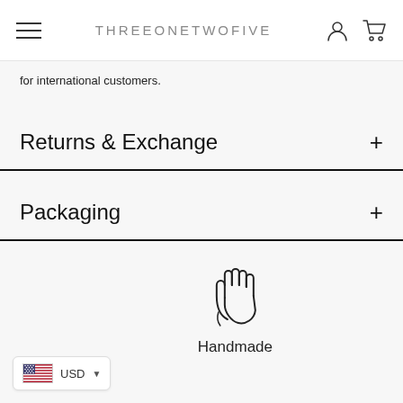THREEONETWOFIVE
for international customers.
Returns & Exchange
Packaging
[Figure (illustration): Hand/waving hand outline icon representing handmade products]
Handmade
USD currency selector with US flag